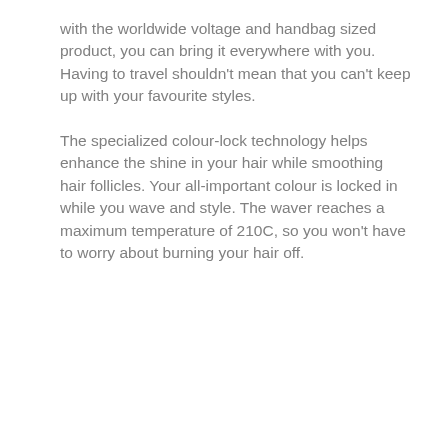with the worldwide voltage and handbag sized product, you can bring it everywhere with you. Having to travel shouldn't mean that you can't keep up with your favourite styles.
The specialized colour-lock technology helps enhance the shine in your hair while smoothing hair follicles. Your all-important colour is locked in while you wave and style. The waver reaches a maximum temperature of 210C, so you won't have to worry about burning your hair off.